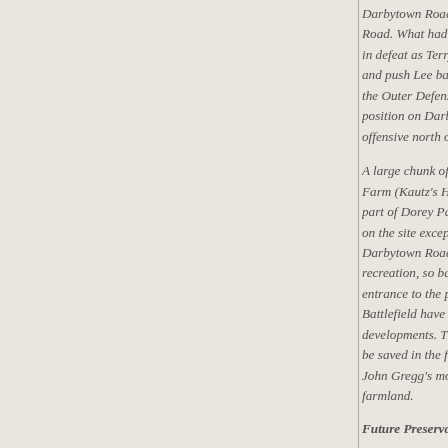Darbytown Road to Road. What had beg in defeat as Terry wa and push Lee back to the Outer Defensive position on Darbyto offensive north of the
A large chunk of the Farm (Kautz's Head part of Dorey Park. on the site except for Darbytown Road. Th recreation, so baseba entrance to the park. Battlefield have beer developments. The o be saved in the futur John Gregg's mortal farmland.
Future Preservation